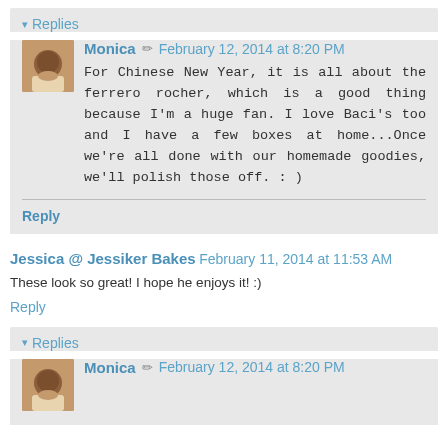▾ Replies
Monica ✏ February 12, 2014 at 8:20 PM
For Chinese New Year, it is all about the ferrero rocher, which is a good thing because I'm a huge fan. I love Baci's too and I have a few boxes at home...Once we're all done with our homemade goodies, we'll polish those off. : )
Reply
Jessica @ Jessiker Bakes February 11, 2014 at 11:53 AM
These look so great! I hope he enjoys it! :)
Reply
▾ Replies
Monica ✏ February 12, 2014 at 8:20 PM